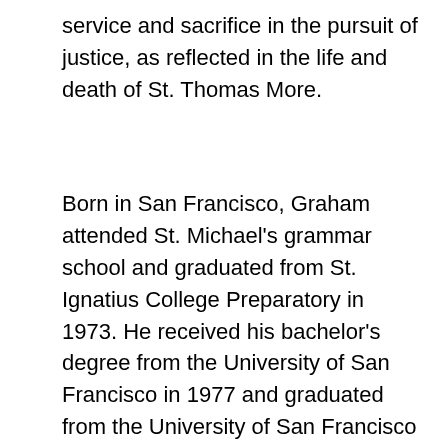service and sacrifice in the pursuit of justice, as reflected in the life and death of St. Thomas More.
Born in San Francisco, Graham attended St. Michael's grammar school and graduated from St. Ignatius College Preparatory in 1973. He received his bachelor's degree from the University of San Francisco in 1977 and graduated from the University of San Francisco School of Law in 1980. Over his almost four decades of distinguished legal work at Aiken, Kramer & Cummings, Inc. and Wendel Rosen LLP, Graham is seen as a leader in the field of construction law and well-respected by jurists and his fellow lawyers,